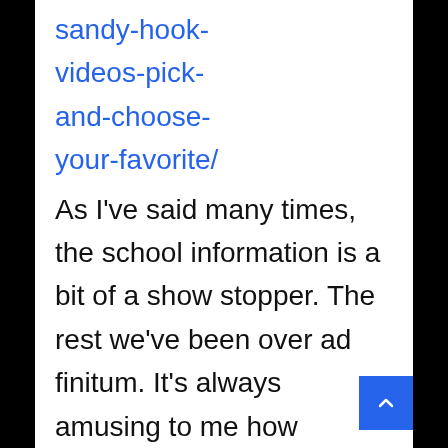sandy-hook-videos-pick-and-choose-your-favorite/
As I've said many times, the school information is a bit of a show stopper. The rest we've been over ad finitum. It's always amusing to me how someone